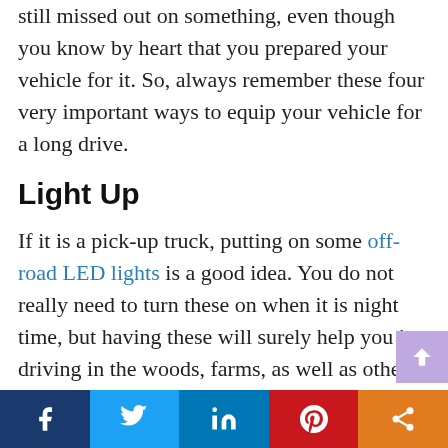still missed out on something, even though you know by heart that you prepared your vehicle for it. So, always remember these four very important ways to equip your vehicle for a long drive.
Light Up
If it is a pick-up truck, putting on some off-road LED lights is a good idea. You do not really need to turn these on when it is night time, but having these will surely help you in driving in the woods, farms, as well as other roads that are notoriously known for accidents.